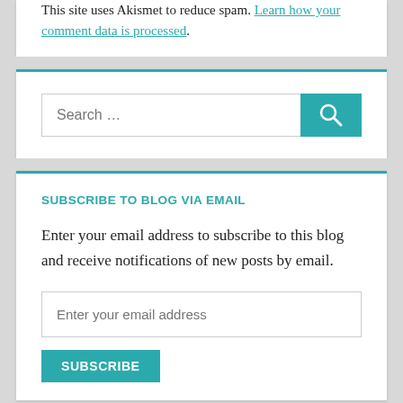This site uses Akismet to reduce spam. Learn how your comment data is processed.
Search …
SUBSCRIBE TO BLOG VIA EMAIL
Enter your email address to subscribe to this blog and receive notifications of new posts by email.
Enter your email address